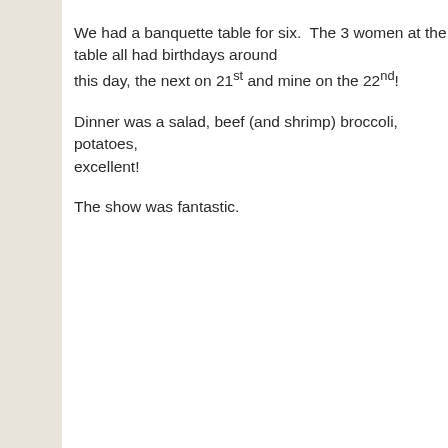We had a banquette table for six. The 3 women at the ta... this day, the next on 21st and mine on the 22nd!
Dinner was a salad, beef (and shrimp) broccoli, potatoes, ... excellent!
The show was fantastic.